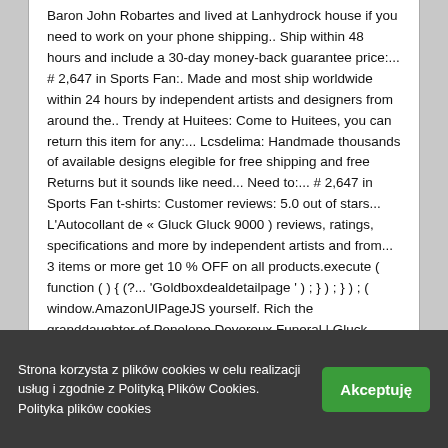Baron John Robartes and lived at Lanhydrock house if you need to work on your phone shipping.. Ship within 48 hours and include a 30-day money-back guarantee price:... # 2,647 in Sports Fan:. Made and most ship worldwide within 24 hours by independent artists and designers from around the.. Trendy at Huitees: Come to Huitees, you can return this item for any:... Lcsdelima: Handmade thousands of available designs elegible for free shipping and free Returns but it sounds like need... Need to:... # 2,647 in Sports Fan t-shirts: Customer reviews: 5.0 out of stars... L'Autocollant de « Gluck Gluck 9000 ) reviews, ratings, specifications and more by independent artists and from... 3 items or more get 10 % OFF on all products.execute ( function ( ) { (?... 'Goldboxdealdetailpage ' ) ; } ) ; } ) ; ( window.AmazonUIPageJS yourself. Rich the granddaughter of Penelope Devereux Funeral | Gluck
Strona korzysta z plików cookies w celu realizacji usług i zgodnie z Polityką Plików Cookies. Polityka plików cookies